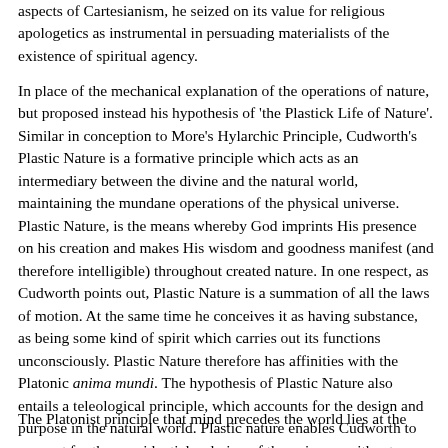aspects of Cartesianism, he seized on its value for religious apologetics as instrumental in persuading materialists of the existence of spiritual agency.
In place of the mechanical explanation of the operations of nature, but proposed instead his hypothesis of 'the Plastick Life of Nature'. Similar in conception to More's Hylarchic Principle, Cudworth's Plastic Nature is a formative principle which acts as an intermediary between the divine and the natural world, maintaining the mundane operations of the physical universe. Plastic Nature, is the means whereby God imprints His presence on his creation and makes His wisdom and goodness manifest (and therefore intelligible) throughout created nature. In one respect, as Cudworth points out, Plastic Nature is a summation of all the laws of motion. At the same time he conceives it as having substance, as being some kind of spirit which carries out its functions unconsciously. Plastic Nature therefore has affinities with the Platonic anima mundi. The hypothesis of Plastic Nature also entails a teleological principle, which accounts for the design and purpose in the natural world. Plastic nature enables Cudworth to account for the providential ordering of the universe without falling into the trap of occasionalism. For by it he explains God's immanence in the world, without requiring immediate divine intervention in the minutiae of day-to-day operations in the natural world.
The Platonist principle that mind precedes the world lies at the